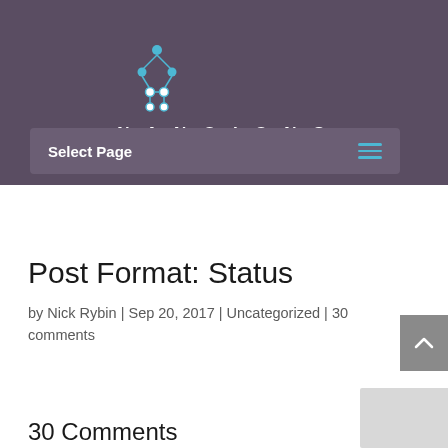[Figure (logo): Nanoions logo with blue connected dots icon and NANOIONS text in white spaced letters on purple background]
Select Page
Post Format: Status
by Nick Rybin | Sep 20, 2017 | Uncategorized | 30 comments
30 Comments